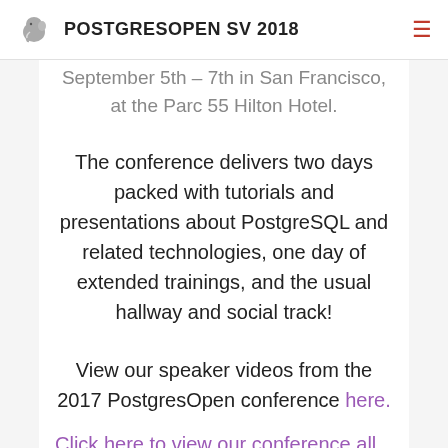POSTGRESOPEN SV 2018
September 5th – 7th in San Francisco, at the Parc 55 Hilton Hotel.
The conference delivers two days packed with tutorials and presentations about PostgreSQL and related technologies, one day of extended trainings, and the usual hallway and social track!
View our speaker videos from the 2017 PostgresOpen conference here.
Click here to view our conference all...